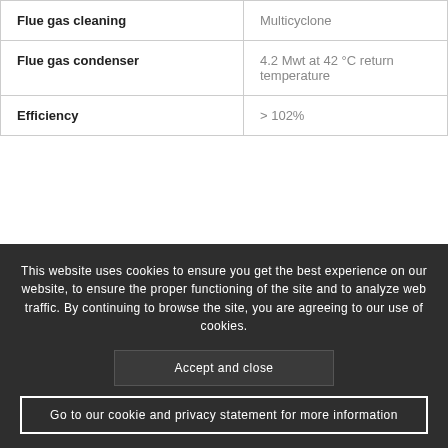| Flue gas cleaning | Multicyclone |
| Flue gas condenser | 4.2 Mwt at 42 °C return temperature |
| Efficiency | > 102% |
This website uses cookies to ensure you get the best experience on our website, to ensure the proper functioning of the site and to analyze web traffic. By continuing to browse the site, you are agreeing to our use of cookies.
Accept and close
Go to our cookie and privacy statement for more information